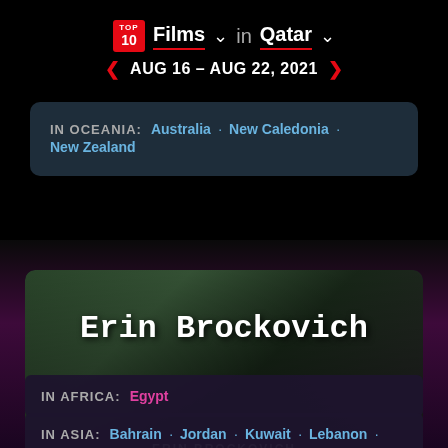TOP 10 Films in Qatar — AUG 16 - AUG 22, 2021
IN OCEANIA: Australia · New Caledonia · New Zealand
Erin Brockovich
ERIN BROCKOVICH
Top 10 in Films in 8 countries on Netflix
IN AFRICA: Egypt
IN ASIA: Bahrain · Jordan · Kuwait · Lebanon ·